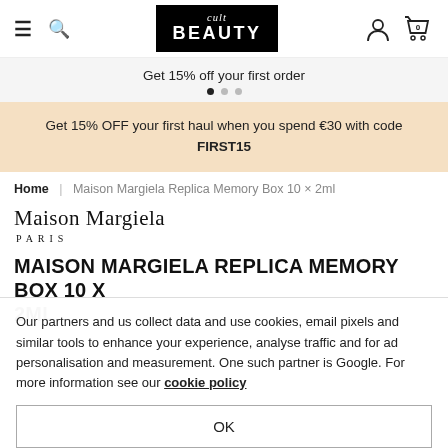Cult Beauty navigation bar with hamburger menu, search, logo, user icon, and cart (0)
Get 15% off your first order
Get 15% OFF your first haul when you spend €30 with code FIRST15
Home | Maison Margiela Replica Memory Box 10 × 2ml
Maison Margiela PARIS
MAISON MARGIELA REPLICA MEMORY BOX 10 X 2ML
Our partners and us collect data and use cookies, email pixels and similar tools to enhance your experience, analyse traffic and for ad personalisation and measurement. One such partner is Google. For more information see our cookie policy
OK